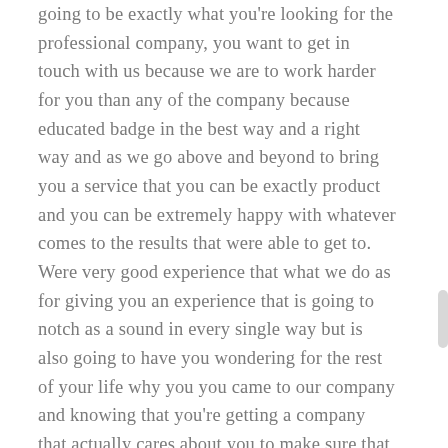going to be exactly what you're looking for the professional company, you want to get in touch with us because we are to work harder for you than any of the company because educated badge in the best way and a right way and as we go above and beyond to bring you a service that you can be exactly product and you can be extremely happy with whatever comes to the results that were able to get to. Were very good experience that what we do as for giving you an experience that is going to notch as a sound in every single way but is also going to have you wondering for the rest of your life why you you came to our company and knowing that you're getting a company that actually cares about you to make sure that you getting somebody that cares about you and the best way and in the right way.